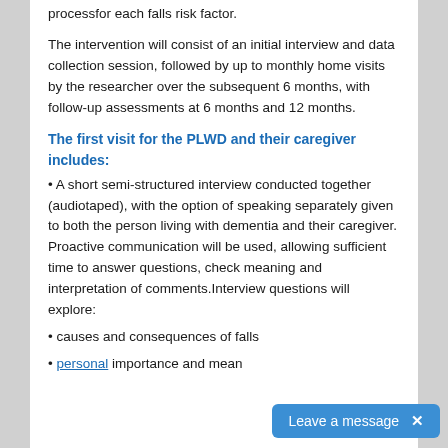processfor each falls risk factor.
The intervention will consist of an initial interview and data collection session, followed by up to monthly home visits by the researcher over the subsequent 6 months, with follow-up assessments at 6 months and 12 months.
The first visit for the PLWD and their caregiver includes:
• A short semi-structured interview conducted together (audiotaped), with the option of speaking separately given to both the person living with dementia and their caregiver. Proactive communication will be used, allowing sufficient time to answer questions, check meaning and interpretation of comments.Interview questions will explore:
• causes and consequences of falls
• personal importance and mean